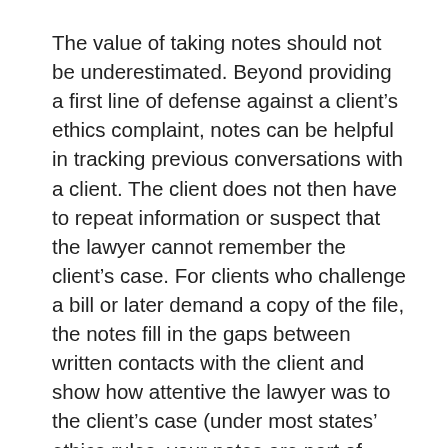The value of taking notes should not be underestimated. Beyond providing a first line of defense against a client's ethics complaint, notes can be helpful in tracking previous conversations with a client. The client does not then have to repeat information or suspect that the lawyer cannot remember the client's case. For clients who challenge a bill or later demand a copy of the file, the notes fill in the gaps between written contacts with the client and show how attentive the lawyer was to the client's case (under most states' ethics rules, your notes are part of your clients' files and belong to them, so avoid excessive doodling and gratuitous comments about your clients' mental health). Your notes will also provide the chronology of events on which you may need to rely when explaining